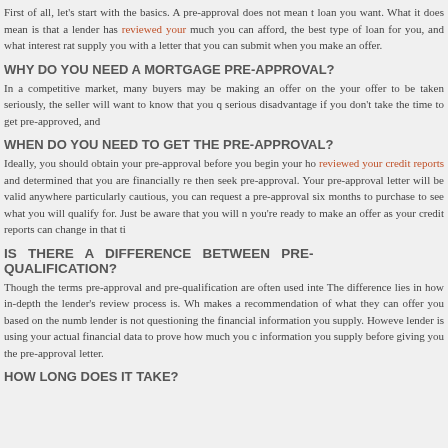First of all, let's start with the basics. A pre-approval does not mean the loan you want. What it does mean is that a lender has reviewed your much you can afford, the best type of loan for you, and what interest rate supply you with a letter that you can submit when you make an offer.
WHY DO YOU NEED A MORTGAGE PRE-APPROVAL?
In a competitive market, many buyers may be making an offer on the your offer to be taken seriously, the seller will want to know that you q serious disadvantage if you don't take the time to get pre-approved, and
WHEN DO YOU NEED TO GET THE PRE-APPROVAL?
Ideally, you should obtain your pre-approval before you begin your ho reviewed your credit reports and determined that you are financially re then seek pre-approval. Your pre-approval letter will be valid anywhere particularly cautious, you can request a pre-approval six months to purchase to see what you will qualify for. Just be aware that you will n you're ready to make an offer as your credit reports can change in that ti
IS THERE A DIFFERENCE BETWEEN PRE- QUALIFICATION?
Though the terms pre-approval and pre-qualification are often used inte The difference lies in how in-depth the lender's review process is. Wh makes a recommendation of what they can offer you based on the numb lender is not questioning the financial information you supply. Howeve lender is using your actual financial data to prove how much you c information you supply before giving you the pre-approval letter.
HOW LONG DOES IT TAKE?